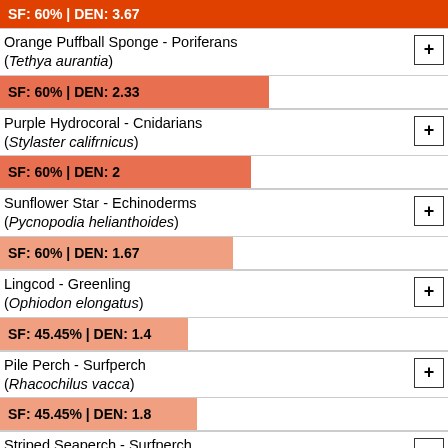SF: 60% | DEN: 3.67 (bar, top, clipped)
Orange Puffball Sponge - Poriferans (Tethya aurantia)
SF: 60% | DEN: 2.33
Purple Hydrocoral - Cnidarians (Stylaster califrnicus)
SF: 60% | DEN: 2
Sunflower Star - Echinoderms (Pycnopodia helianthoides)
SF: 60% | DEN: 1.67
Lingcod - Greenling (Ophiodon elongatus)
SF: 45.45% | DEN: 1.4
Pile Perch - Surfperch (Rhacochilus vacca)
SF: 45.45% | DEN: 1.8
Striped Seaperch - Surfperch (Embiotoca lateralis)
SF: 45.45% | DEN: 2.2
Chestnut Cowry - Mollusks (Cypraea spadicea)